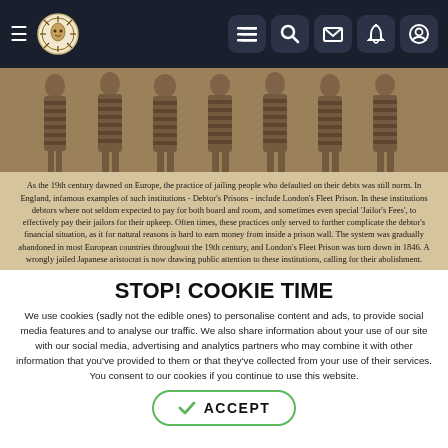[Figure (screenshot): Dark navigation bar with hamburger menu, circular logo with animal/sun motif, and five icon buttons (list, search, mail, bell, user) on right side]
[Figure (photo): Sepia-toned historical photograph of prisoners in striped uniforms standing in a row, with text overlay about 19th century debtor's prisons in Europe]
STOP! COOKIE TIME
We use cookies (sadly not the edible ones) to personalise content and ads, to provide social media features and to analyse our traffic. We also share information about your use of our site with our social media, advertising and analytics partners who may combine it with other information that you've provided to them or that they've collected from your use of their services. You consent to our cookies if you continue to use this website.
✓ ACCEPT